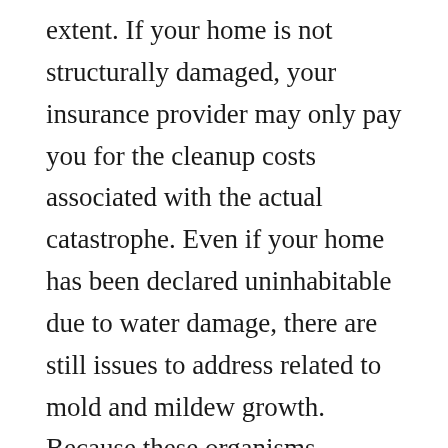extent. If your home is not structurally damaged, your insurance provider may only pay you for the cleanup costs associated with the actual catastrophe. Even if your home has been declared uninhabitable due to water damage, there are still issues to address related to mold and mildew growth. Because these organisms multiply and have a long shelf life, it is essential that you quickly contain and remove any mold or mildew. Your best bet for a successful water restoration project is to hire